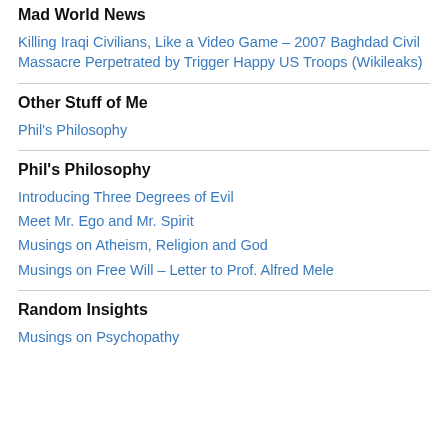Mad World News
Killing Iraqi Civilians, Like a Video Game – 2007 Baghdad Civil Massacre Perpetrated by Trigger Happy US Troops (Wikileaks)
Other Stuff of Me
Phil's Philosophy
Phil's Philosophy
Introducing Three Degrees of Evil
Meet Mr. Ego and Mr. Spirit
Musings on Atheism, Religion and God
Musings on Free Will – Letter to Prof. Alfred Mele
Random Insights
Musings on Psychopathy